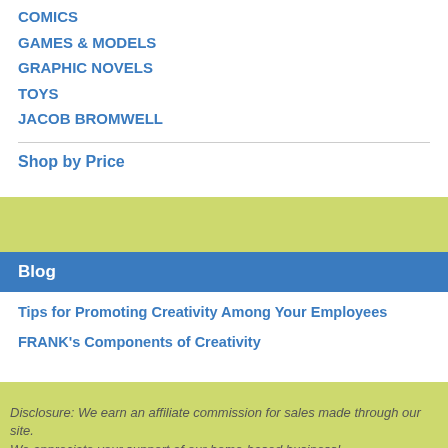COMICS
GAMES & MODELS
GRAPHIC NOVELS
TOYS
JACOB BROMWELL
Shop by Price
Blog
Tips for Promoting Creativity Among Your Employees
FRANK's Components of Creativity
Disclosure: We earn an affiliate commission for sales made through our site. We appreciate your support of our home-based business!
Humor